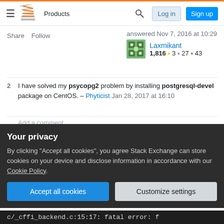Stack Overflow navigation bar with hamburger menu, logo, Products, search icon, Log in button, Sign up button
Share  Follow  answered Nov 7, 2016 at 10:29  Laxmikant  1,816 ●3 ●27 ●43
2  I have solved my psycopg2 problem by installing postgresql-devel package on CentOS. – Phyticist Jan 28, 2017 at 16:10
Add a comment
first you need to find out what the actual problem
Your privacy
By clicking "Accept all cookies", you agree Stack Exchange can store cookies on your device and disclose information in accordance with our Cookie Policy.
Accept all cookies  Customize settings
c/_cffi_backend.c:15:17: fatal error: f